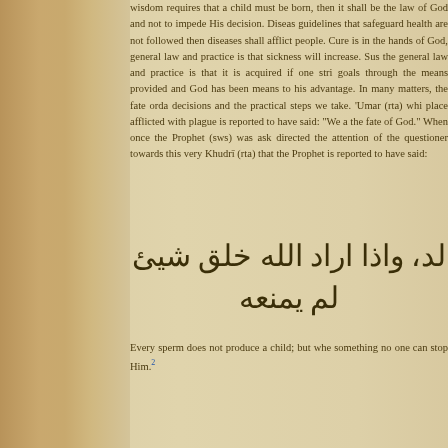wisdom requires that a child must be born, then it shall be the law of God and not to impede His decision. Diseases guidelines that safeguard health are not followed then diseases shall afflict people. Cure is in the hands of God, general law and practice is that sickness will increase. Sus the general law and practice is that it is acquired if one stri goals through the means provided and God has been means to his advantage. In many matters, the fate orda decisions and the practical steps we take. 'Umar (rta) whi place afflicted with plague is reported to have said: "We a the fate of God." When once the Prophet (sws) was ask directed the attention of the questioner towards this very Khudrī (rta) that the Prophet is reported to have said:
[Figure (other): Arabic text quotation: لد، واذا اراد الله خلق شيئ لم يمنعه]
Every sperm does not produce a child; but whe something no one can stop Him.2